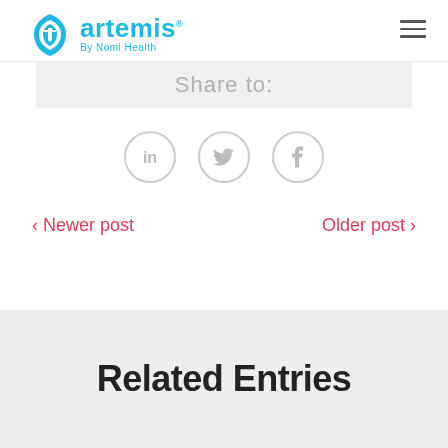artemis By Nomi Health
Share to:
[Figure (infographic): Three circular social media icons: LinkedIn (in), Twitter (bird), Facebook (f), all in light gray outline style]
‹ Newer post
Older post ›
Related Entries